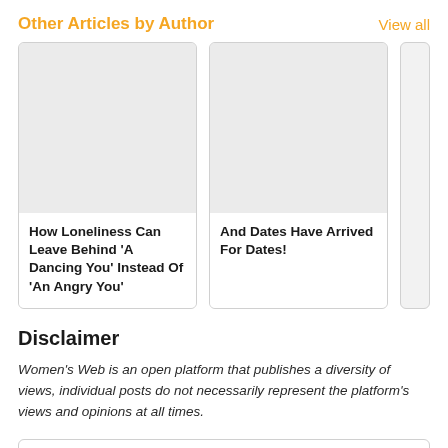Other Articles by Author
View all
[Figure (other): Article card thumbnail placeholder image (grey rectangle) for article: How Loneliness Can Leave Behind 'A Dancing You' Instead Of 'An Angry You']
How Loneliness Can Leave Behind 'A Dancing You' Instead Of 'An Angry You'
[Figure (other): Article card thumbnail placeholder image (grey rectangle) for article: And Dates Have Arrived For Dates!]
And Dates Have Arrived For Dates!
Disclaimer
Women's Web is an open platform that publishes a diversity of views, individual posts do not necessarily represent the platform's views and opinions at all times.
FOLLOW WOMEN'S WEB